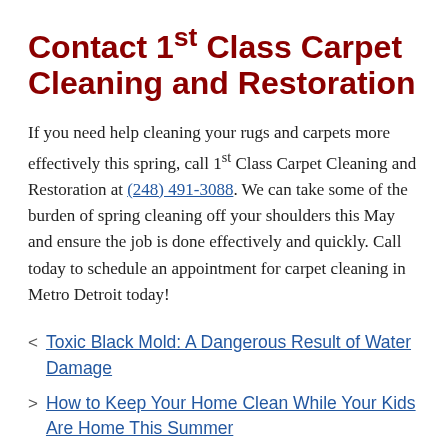Contact 1st Class Carpet Cleaning and Restoration
If you need help cleaning your rugs and carpets more effectively this spring, call 1st Class Carpet Cleaning and Restoration at (248) 491-3088. We can take some of the burden of spring cleaning off your shoulders this May and ensure the job is done effectively and quickly. Call today to schedule an appointment for carpet cleaning in Metro Detroit today!
< Toxic Black Mold: A Dangerous Result of Water Damage
> How to Keep Your Home Clean While Your Kids Are Home This Summer